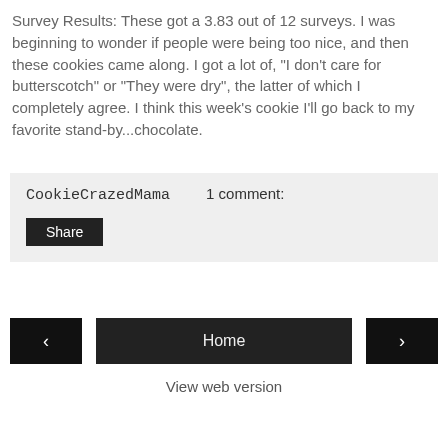Survey Results: These got a 3.83 out of 12 surveys. I was beginning to wonder if people were being too nice, and then these cookies came along. I got a lot of, "I don't care for butterscotch" or "They were dry", the latter of which I completely agree. I think this week's cookie I'll go back to my favorite stand-by...chocolate.
CookieCrazedMama   1 comment:
Share
‹
Home
›
View web version